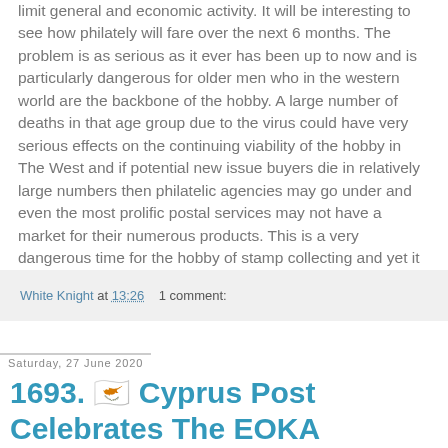limit general and economic activity. It will be interesting to see how philately will fare over the next 6 months. The problem is as serious as it ever has been up to now and is particularly dangerous for older men who in the western world are the backbone of the hobby. A large number of deaths in that age group due to the virus could have very serious effects on the continuing viability of the hobby in The West and if potential new issue buyers die in relatively large numbers then philatelic agencies may go under and even the most prolific postal services may not have a market for their numerous products. This is a very dangerous time for the hobby of stamp collecting and yet it may result in a reduction in new issues if greedy new issue stamp producers lose their market.
White Knight at 13:26   1 comment:
Saturday, 27 June 2020
1693. 🇨🇾 Cyprus Post Celebrates The EOKA Struggle.